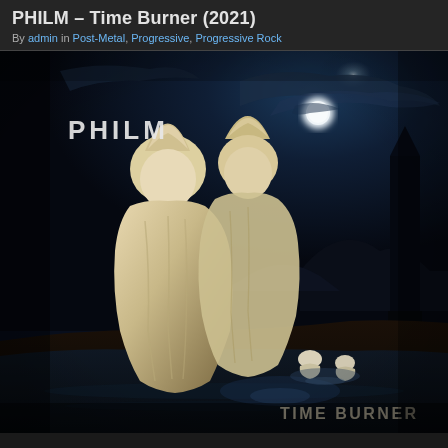PHILM – Time Burner (2021)
By admin in Post-Metal, Progressive, Progressive Rock
[Figure (illustration): Album cover for PHILM – Time Burner (2021). Dark atmospheric painting depicting two large stone/marble female statues with elongated headdresses standing in shallow water under a moonlit night sky. In the background, a dark obelisk/tower on the right, mountains, and two smaller kneeling white-robed figures in the water. The moon is partially obscured by clouds. Text 'PHILM' appears in upper left and 'TIME BURNER' in lower right of the album cover.]